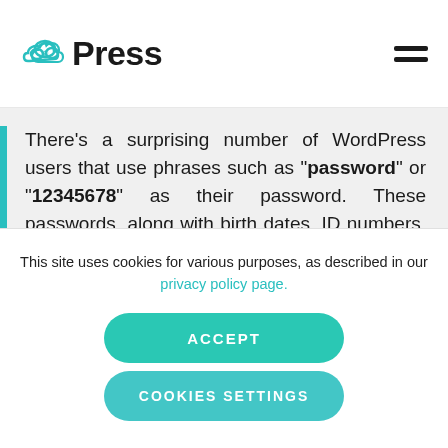iTPress
There's a surprising number of WordPress users that use phrases such as "password" or "12345678" as their password. These passwords, along with birth dates, ID numbers, and phone numbers, are easy to guess and will be among the first that bots or hackers will try.
This site uses cookies for various purposes, as described in our privacy policy page.
ACCEPT
COOKIES SETTINGS